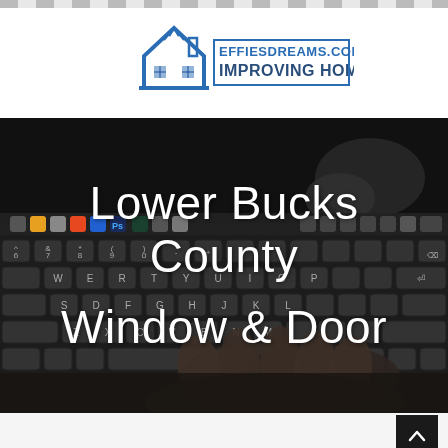[Figure (logo): EFFIESDREAMS.COM IMPROVING HOME logo with house icon in blue]
[Figure (photo): Dark background photo of a laptop keyboard with hands typing, overlaid with white text reading 'Lower Bucks County Window & Door']
Lower Bucks County Window & Door